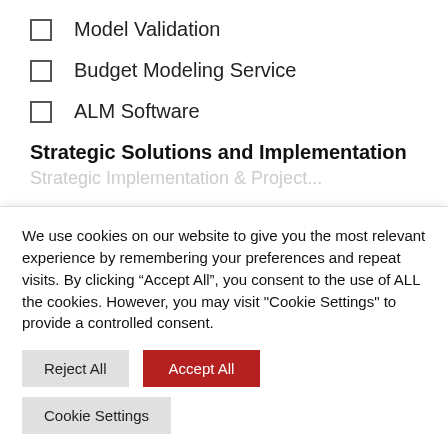Model Validation
Budget Modeling Service
ALM Software
Strategic Solutions and Implementation
We use cookies on our website to give you the most relevant experience by remembering your preferences and repeat visits. By clicking “Accept All”, you consent to the use of ALL the cookies. However, you may visit “Cookie Settings” to provide a controlled consent.
Reject All | Accept All | Cookie Settings